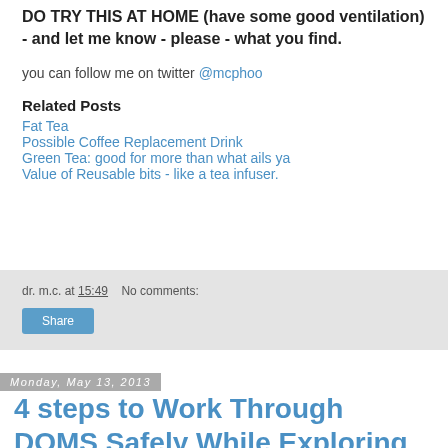DO TRY THIS AT HOME (have some good ventilation) - and let me know - please - what you find.
you can follow me on twitter @mcphoo
Related Posts
Fat Tea
Possible Coffee Replacement Drink
Green Tea: good for more than what ails ya
Value of Reusable bits - like a tea infuser.
dr. m.c. at 15:49    No comments:
Share
Monday, May 13, 2013
4 steps to Work Through DOMS Safely While Exploring Movement.